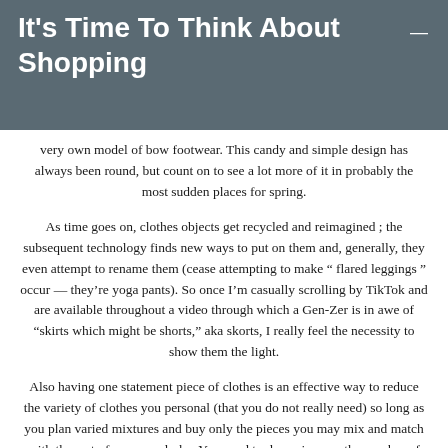It's Time To Think About Shopping
very own model of bow footwear. This candy and simple design has always been round, but count on to see a lot more of it in probably the most sudden places for spring.
As time goes on, clothes objects get recycled and reimagined ; the subsequent technology finds new ways to put on them and, generally, they even attempt to rename them (cease attempting to make “ flared leggings ” occur — they’re yoga pants). So once I’m casually scrolling by TikTok and are available throughout a video through which a Gen-Zer is in awe of “skirts which might be shorts,” aka skorts, I really feel the necessity to show them the light.
Also having one statement piece of clothes is an effective way to reduce the variety of clothes you personal (that you do not really need) so long as you plan varied mixtures and buy only the pieces you may mix and match with the rest of your wardrobe. You need to downsize you the number of clothes gadgets if you happen to really wish